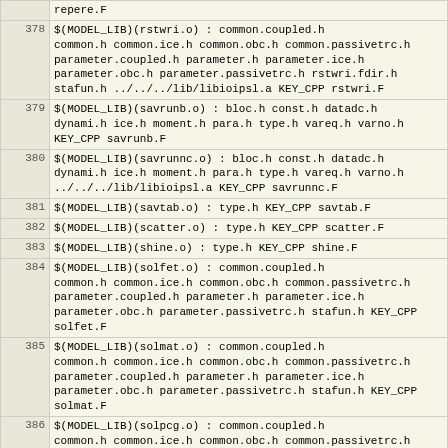| Line | Code |
| --- | --- |
|  | repere.F |
| 378 | $(MODEL_LIB)(rstwri.o) :      common.coupled.h common.h common.ice.h common.obc.h common.passivetrc.h parameter.coupled.h parameter.h parameter.ice.h parameter.obc.h parameter.passivetrc.h rstwri.fdir.h stafun.h ../../../lib/libioipsl.a KEY_CPP rstwri.F |
| 379 | $(MODEL_LIB)(savrunb.o) :      bloc.h const.h datadc.h dynami.h ice.h moment.h para.h type.h vareq.h varno.h KEY_CPP savrunb.F |
| 380 | $(MODEL_LIB)(savrunnc.o) :     bloc.h const.h datadc.h dynami.h ice.h moment.h para.h type.h vareq.h varno.h ../../../lib/libioipsl.a KEY_CPP savrunnc.F |
| 381 | $(MODEL_LIB)(savtab.o) :       type.h KEY_CPP savtab.F |
| 382 | $(MODEL_LIB)(scatter.o) :      type.h KEY_CPP scatter.F |
| 383 | $(MODEL_LIB)(shine.o) : type.h KEY_CPP shine.F |
| 384 | $(MODEL_LIB)(solfet.o) :       common.coupled.h common.h common.ice.h common.obc.h common.passivetrc.h parameter.coupled.h parameter.h parameter.ice.h parameter.obc.h parameter.passivetrc.h stafun.h KEY_CPP solfet.F |
| 385 | $(MODEL_LIB)(solmat.o) :       common.coupled.h common.h common.ice.h common.obc.h common.passivetrc.h parameter.coupled.h parameter.h parameter.ice.h parameter.obc.h parameter.passivetrc.h stafun.h KEY_CPP solmat.F |
| 386 | $(MODEL_LIB)(solpcg.o) :       common.coupled.h common.h common.ice.h common.obc.h common.passivetrc.h parameter.coupled.h parameter.h parameter.ice.h parameter.obc.h parameter.passivetrc.h stafun.h KEY_CPP solpcg.F |
| 387 | $(MODEL_LIB)(solrbs.o) :       common.coupled.h common.h common.ice.h common.obc.h common.passivetrc.h parameter.coupled.h parameter.h parameter.ice.h parameter.obc.h parameter.passivetrc.h stafun.h KEY_CPP solrbs.F |
| 388 | $(MODEL_LIB)(solsor.o) :       common.coupled.h |